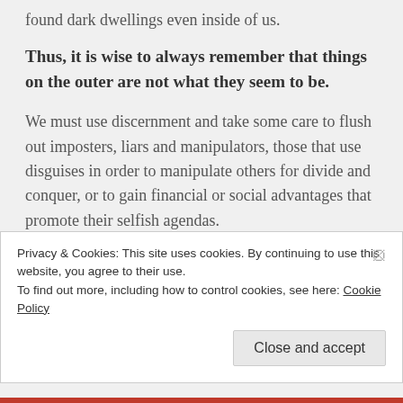found dark dwellings even inside of us.
Thus, it is wise to always remember that things on the outer are not what they seem to be.
We must use discernment and take some care to flush out imposters, liars and manipulators, those that use disguises in order to manipulate others for divide and conquer, or to gain financial or social advantages that promote their selfish agendas.
Privacy & Cookies: This site uses cookies. By continuing to use this website, you agree to their use.
To find out more, including how to control cookies, see here: Cookie Policy
Close and accept